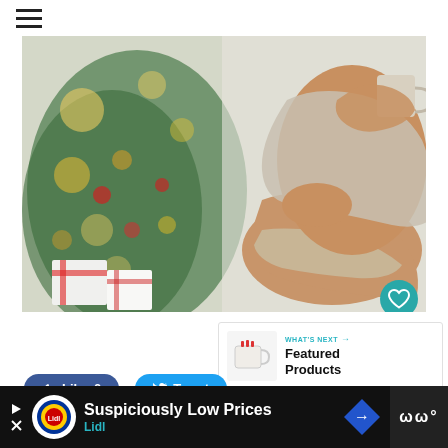≡ (hamburger menu)
[Figure (photo): A pregnant woman sitting in a chair holding a mug, wearing a grey outfit, with a decorated Christmas tree and wrapped presents in the background. A teal heart/like button, a count badge showing 1, and a share button overlay the bottom-right of the image.]
[Figure (screenshot): What's Next box showing a mug product image with label 'Featured Products' and teal arrow navigation]
Like 0   Tweet
[Figure (screenshot): Advertisement banner: Lidl logo, text 'Suspiciously Low Prices' and 'Lidl' in teal, with a blue navigation arrow icon on a black background. Right side shows a dark panel with white dots icon.]